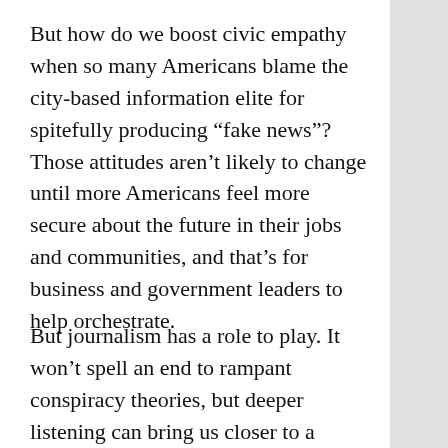But how do we boost civic empathy when so many Americans blame the city-based information elite for spitefully producing “fake news”? Those attitudes aren’t likely to change until more Americans feel more secure about the future in their jobs and communities, and that’s for business and government leaders to help orchestrate.
But journalism has a role to play. It won’t spell an end to rampant conspiracy theories, but deeper listening can bring us closer to a shared sense of reality and the values that give it oxygen. Unstopping our ears to those